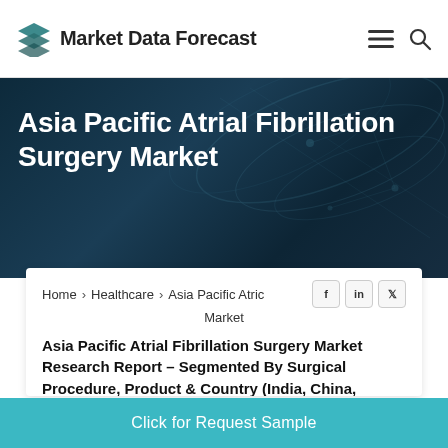Market Data Forecast
[Figure (illustration): Dark blue hero background with abstract DNA/network decorative lines overlay]
Asia Pacific Atrial Fibrillation Surgery Market
Home > Healthcare > Asia Pacific Atrio Market
Asia Pacific Atrial Fibrillation Surgery Market Research Report – Segmented By Surgical Procedure, Product & Country (India, China, Japan, South Korea, Australia, New Zealand, Thailand, Malaysia, Vietnam, Philippines, Indonesia, Singapore & Rest of APAC) - Industry Analysis, Size, Share, Growth, Trends
Click for Request Sample